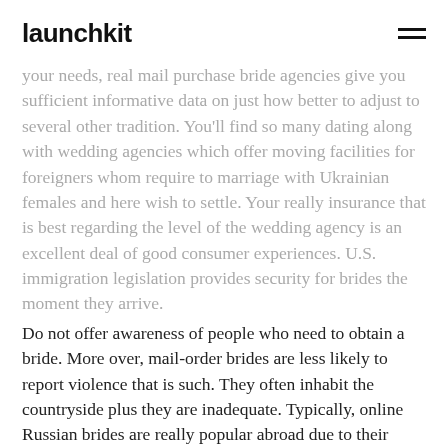launchkit
your needs, real mail purchase bride agencies give you sufficient informative data on just how better to adjust to several other tradition. You'll find so many dating along with wedding agencies which offer moving facilities for foreigners whom require to marriage with Ukrainian females and here wish to settle. Your really insurance that is best regarding the level of the wedding agency is an excellent deal of good consumer experiences. U.S. immigration legislation provides security for brides the moment they arrive.
Do not offer awareness of people who need to obtain a bride. More over, mail-order brides are less likely to report violence that is such. They often inhabit the countryside plus they are inadequate. Typically, online Russian brides are really popular abroad due to their characteristics that are beautiful. When you're interested to receive connected up to a Russian bride,